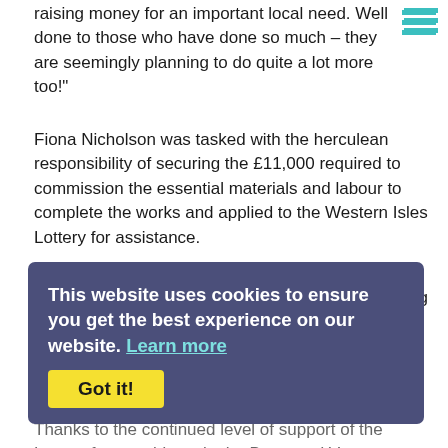raising money for an important local need. Well done to those who have done so much – they are seemingly planning to do quite a lot more too!"
Fiona Nicholson was tasked with the herculean responsibility of securing the £11,000 required to commission the essential materials and labour to complete the works and applied to the Western Isles Lottery for assistance.
Her application detailed the works required including repairs to the heating system, external safety railings, a water pump, internal and fire door replacements, as well as paint and signage.
Janet Paterson of Western Isles Lottery said "Given the Castlebay Hall is the hub of the community, the need for the facility to be safe and functional is regarded as being a priority for the area.
Thanks to the continued level of support of the Lottery from residents in the Barra and Vatersay area, an immediate grant of £5,... urgent works to commence. It is intended that further funding will be awarded to complete the upgrades but the level of funding is solely dependent upon the level of continued support of the Lottery by locals. The proceeds of every ticket sale from the area go directly back to their own Community on an ongoing basis...
This website uses cookies to ensure you get the best experience on our website. Learn more
Got it!